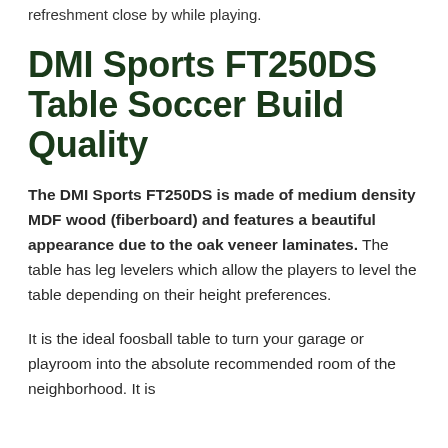refreshment close by while playing.
DMI Sports FT250DS Table Soccer Build Quality
The DMI Sports FT250DS is made of medium density MDF wood (fiberboard) and features a beautiful appearance due to the oak veneer laminates. The table has leg levelers which allow the players to level the table depending on their height preferences.
It is the ideal foosball table to turn your garage or playroom into the absolute recommended room of the neighborhood. It is